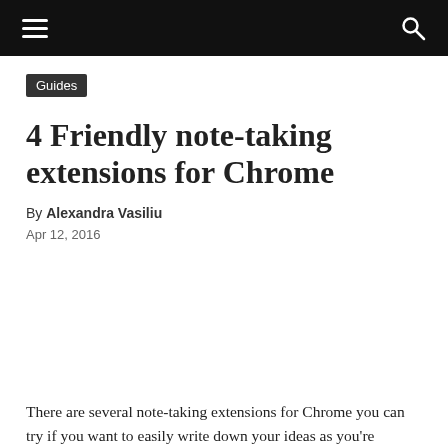Guides
4 Friendly note-taking extensions for Chrome
By Alexandra Vasiliu
Apr 12, 2016
There are several note-taking extensions for Chrome you can try if you want to easily write down your ideas as you're